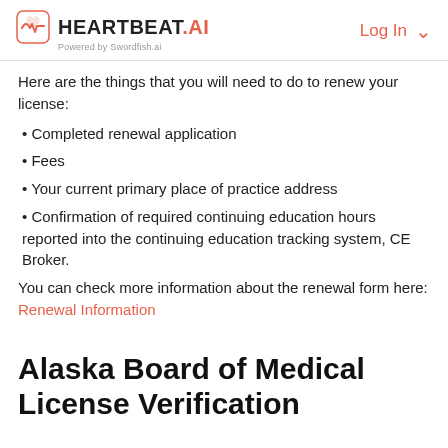HEARTBEAT.AI — Powered by Swordfish.ai | Log In
Here are the things that you will need to do to renew your license:
• Completed renewal application
• Fees
• Your current primary place of practice address
• Confirmation of required continuing education hours reported into the continuing education tracking system, CE Broker.
You can check more information about the renewal form here: Renewal Information
Alaska Board of Medical License Verification